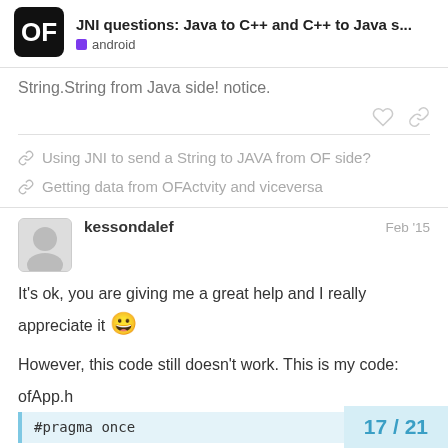JNI questions: Java to C++ and C++ to Java s... android
String.String from Java side!  notice.
Using JNI to send a String to JAVA from OF side?
Getting data from OFActvity and viceversa
kessondalef  Feb '15
It's ok, you are giving me a great help and I really appreciate it 😀

However, this code still doesn't work. This is my code:

ofApp.h

#pragma once
17 / 21